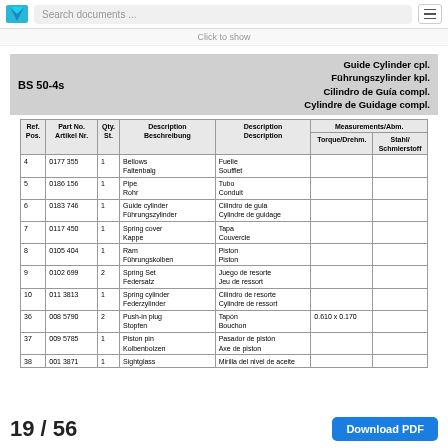Search documents ...
Click to show
BS 50-4s   Guide Cylinder cpl. / Führungszylinder kpl. / Cilindro de Guía compl. / Cylindre de Guidage compl.
| Ref. Pos. | Part No. Artikel Nr. | Qty. St. | Description Beschreibung | Description Description | Measurements/Abm. | Norm Stahl / Schnmierestoff |
| --- | --- | --- | --- | --- | --- | --- |
| 4 | 0177 355 | 1 | Bellows
Faltenbalg | Fuelle
Soufflet |  |  |
| 5 | 0186 156 | 1 | Pipe
Rohr | Tubo
Conduit |  |  |
| 6 | 0183 746 | 1 | Guide cylinder
Führungszylinder | Cilindro de guia
Cylindre de guidage |  |  |
| 7 | 0117 450 | 1 | Spring cover
Kappe | Tapa
Couvercle |  |  |
| 8 | 0105 404 | 1 | Ram
Führungskolben | Piston
Piston |  |  |
| 9 | 0102 699 | 2 | Spring Set
Federsatz | Juego de resorte
Jeu de ressort |  |  |
| 10 | 0113813 | 1 | Spring cylinder
Federzylinder | Cilindro de resorte
Cylindre de ressort |  |  |
| 36 | 0085790 | 2 | Push-in plug
Stopfen | Tapón
Bouchon | 0.610 x 0.170 |  |
| 37 | 0095785 | 1 | Piston pin
Kolbenbolzen | Pasador de pistón
Axe de piston |  |  |
| 38 | 001 3871 | 1 | Sightglass | Mirilla del nivel de aceite |  |  |
19 / 56